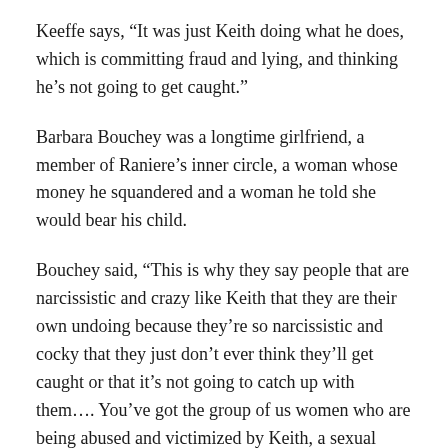Keeffe says, “It was just Keith doing what he does, which is committing fraud and lying, and thinking he’s not going to get caught.”
Barbara Bouchey was a longtime girlfriend, a member of Raniere’s inner circle, a woman whose money he squandered and a woman he told she would bear his child.
Bouchey said, “This is why they say people that are narcissistic and crazy like Keith that they are their own undoing because they’re so narcissistic and cocky that they just don’t ever think they’ll get caught or that it’s not going to catch up with them…. You’ve got the group of us women who are being abused and victimized by Keith, a sexual predator, and psychopath.”